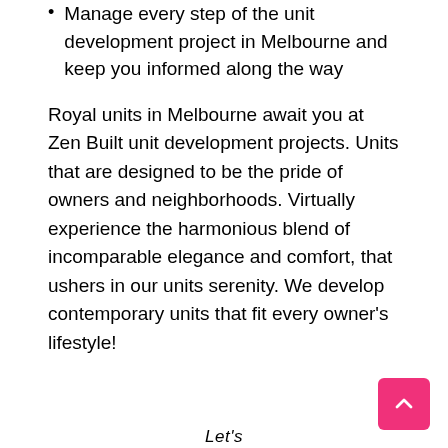Manage every step of the unit development project in Melbourne and keep you informed along the way
Royal units in Melbourne await you at Zen Built unit development projects. Units that are designed to be the pride of owners and neighborhoods. Virtually experience the harmonious blend of incomparable elegance and comfort, that ushers in our units serenity. We develop contemporary units that fit every owner's lifestyle!
Let's
Work Together
Royale Building At Me...